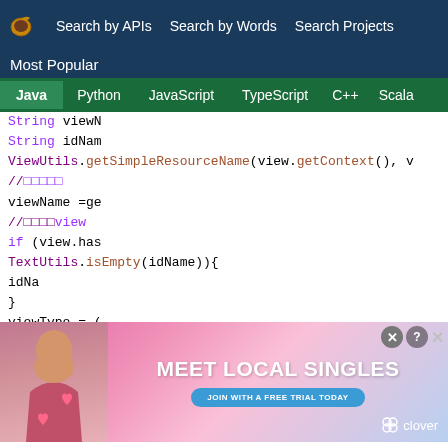Search by APIs | Search by Words | Search Projects
Most Popular
Java | Python | JavaScript | TypeScript | C++ | Scala
[Figure (screenshot): Java code snippet showing ViewUtils.getSimpleResourceName, TextUtils.isEmpty, viewType assignment, and onClickButton calls with comments in Chinese characters]
[Figure (photo): Advertisement banner: Meet Local Singles, Join with a free trial today, clover dating app ad with woman photo]